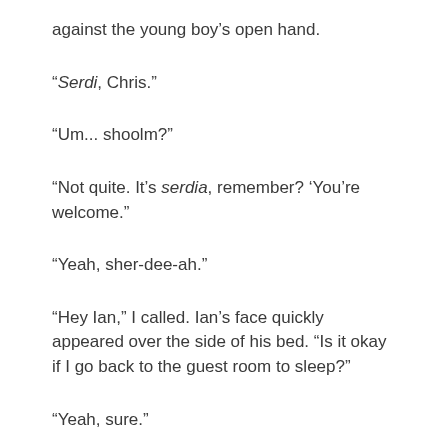against the young boy's open hand.
“Serdi, Chris.”
“Um... shoolm?”
“Not quite. It’s serdia, remember? ‘You’re welcome.”
“Yeah, sher-dee-ah.”
“Hey Ian,” I called. Ian’s face quickly appeared over the side of his bed. “Is it okay if I go back to the guest room to sleep?”
“Yeah, sure.”
I heard his phone click off and he sat up. He bent down